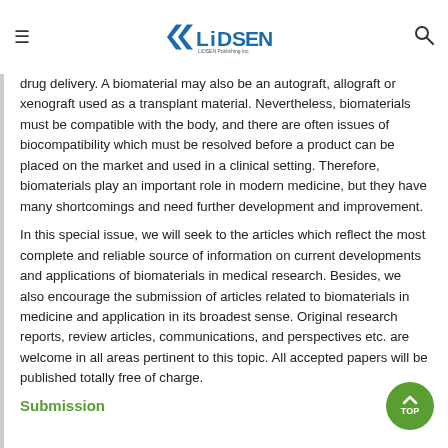LIDSEN Publishing Inc.
drug delivery. A biomaterial may also be an autograft, allograft or xenograft used as a transplant material. Nevertheless, biomaterials must be compatible with the body, and there are often issues of biocompatibility which must be resolved before a product can be placed on the market and used in a clinical setting. Therefore, biomaterials play an important role in modern medicine, but they have many shortcomings and need further development and improvement.
In this special issue, we will seek to the articles which reflect the most complete and reliable source of information on current developments and applications of biomaterials in medical research. Besides, we also encourage the submission of articles related to biomaterials in medicine and application in its broadest sense. Original research reports, review articles, communications, and perspectives etc. are welcome in all areas pertinent to this topic. All accepted papers will be published totally free of charge.
Submission